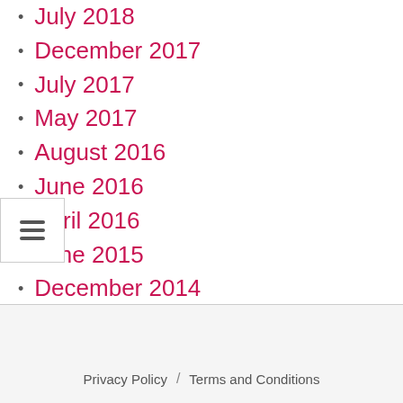July 2018
December 2017
July 2017
May 2017
August 2016
June 2016
April 2016
June 2015
December 2014
June 2014
January 2014
Privacy Policy  /  Terms and Conditions